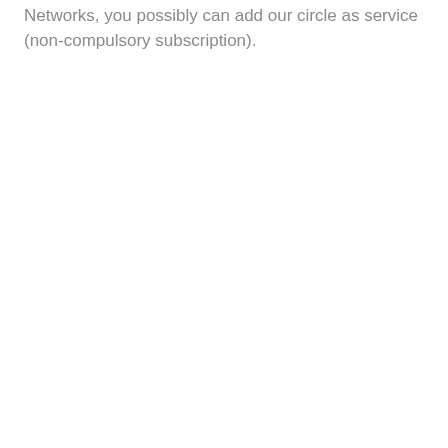Networks, you possibly can add our circle as service (non-compulsory subscription).